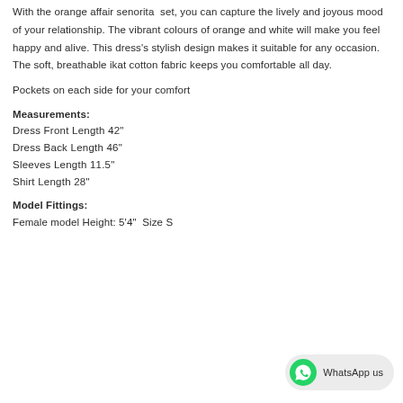With the orange affair senorita set, you can capture the lively and joyous mood of your relationship. The vibrant colours of orange and white will make you feel happy and alive. This dress's stylish design makes it suitable for any occasion. The soft, breathable ikat cotton fabric keeps you comfortable all day.
Pockets on each side for your comfort
Measurements:
Dress Front Length 42"
Dress Back Length 46"
Sleeves Length 11.5"
Shirt Length 28"
Model Fittings:
Female model Height: 5'4"  Size S
[Figure (logo): WhatsApp us button with green WhatsApp icon and grey rounded pill background]